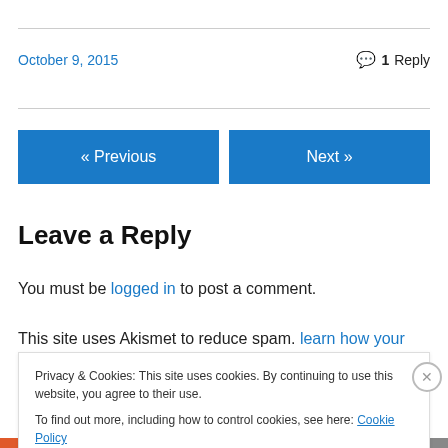October 9, 2015
1 Reply
« Previous
Next »
Leave a Reply
You must be logged in to post a comment.
This site uses Akismet to reduce spam. learn how your
Privacy & Cookies: This site uses cookies. By continuing to use this website, you agree to their use. To find out more, including how to control cookies, see here: Cookie Policy
Close and accept